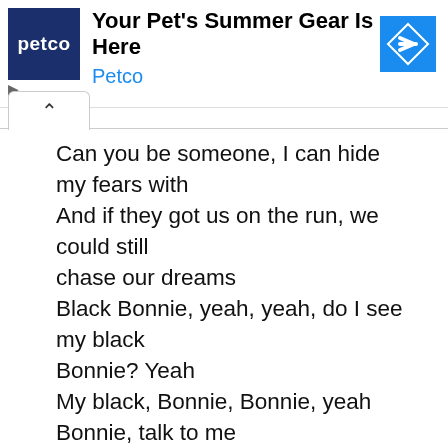[Figure (screenshot): Petco advertisement banner with logo and 'Your Pet's Summer Gear Is Here' text and navigation arrow]
Can you be someone, I can hide my fears with
And if they got us on the run, we could still chase our dreams
Black Bonnie, yeah, yeah, do I see my black Bonnie? Yeah
My black, Bonnie, Bonnie, yeah
Bonnie, talk to me

I, talk to you different, but never extra
She like the fact I get aggressive but I'm not possessive
Bad but she modest, na, staying honest
Black Bonnie Parker, black Bonnie, right
Cash had the stash but she never snatch a